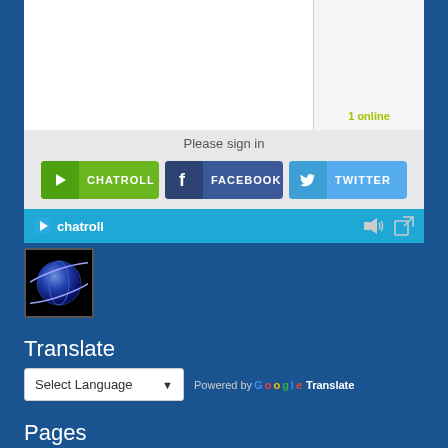[Figure (screenshot): Chatroll embedded chat widget showing sign-in options: Chatroll, Facebook, Twitter buttons, and chatroll footer bar with logo and icons. Shows '1 online' in yellow-green.]
[Figure (illustration): Globe/planet icon with orbital ring, dark background, small square thumbnail]
Translate
Select Language  ▾   Powered by Google Translate
Pages